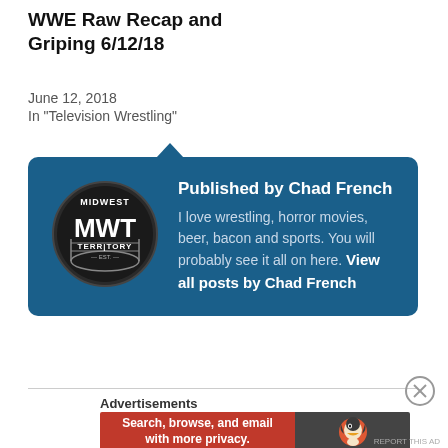WWE Raw Recap and Griping 6/12/18
June 12, 2018
In "Television Wrestling"
[Figure (infographic): Author card with blue background showing 'Published by Chad French' heading, MWT (Midwest Wrestling Territory) circular logo, and bio text: 'I love wrestling, horror movies, beer, bacon and sports. You will probably see it all on here. View all posts by Chad French']
Advertisements
[Figure (screenshot): DuckDuckGo advertisement banner: 'Search, browse, and email with more privacy. All in One Free App' with DuckDuckGo duck logo on right]